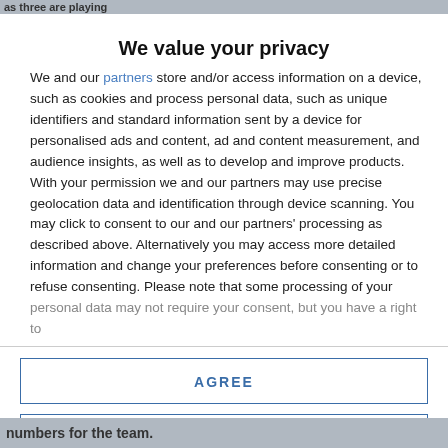as three are playing
We value your privacy
We and our partners store and/or access information on a device, such as cookies and process personal data, such as unique identifiers and standard information sent by a device for personalised ads and content, ad and content measurement, and audience insights, as well as to develop and improve products. With your permission we and our partners may use precise geolocation data and identification through device scanning. You may click to consent to our and our partners' processing as described above. Alternatively you may access more detailed information and change your preferences before consenting or to refuse consenting. Please note that some processing of your personal data may not require your consent, but you have a right to
AGREE
MORE OPTIONS
numbers for the team.